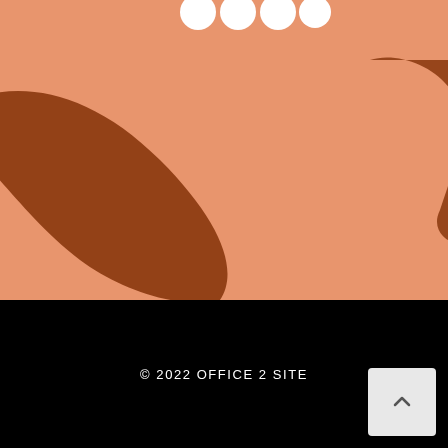[Figure (illustration): Abstract salmon/peach background with two large dark brown bean or boomerang-shaped organic shapes. Four small white circles arranged in a row near the top center. One large dark brown shape on the left side curves like an L or boomerang, another partial dark brown shape is visible on the upper right edge.]
© 2022 OFFICE 2 SITE